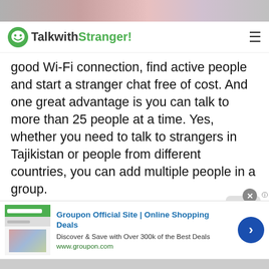[Figure (screenshot): Top image strip showing partial photo/banner at the top of the page]
TalkwithStranger!
good Wi-Fi connection, find active people and start a stranger chat free of cost. And one great advantage is you can talk to more than 25 people at a time. Yes, whether you need to talk to strangers in Tajikistan or people from different countries, you can add multiple people in a group.
So, if you are a student, employee or businessman, why not avail the perks of this free conference calling app? Isn't it great to have a group study, family group call, business meeting call while sitting at home? Of course, it is. Businesses can use
[Figure (screenshot): Advertisement banner: Groupon Official Site | Online Shopping Deals. Discover & Save with Over 300k of the Best Deals. www.groupon.com]